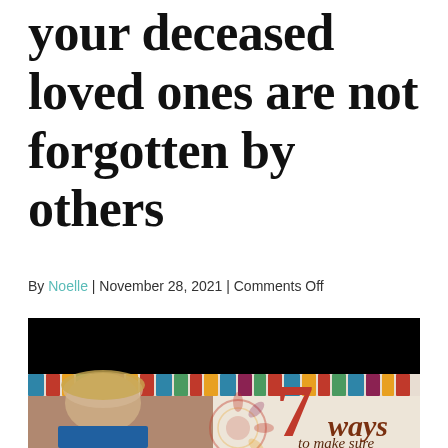your deceased loved ones are not forgotten by others
By Noelle | November 28, 2021 | Comments Off
[Figure (photo): Photo of a blonde woman in a blue top in front of a decorative patterned background, overlaid with text reading '7 ways to make sure'. The top portion of the image is covered by a black bar (redaction).]